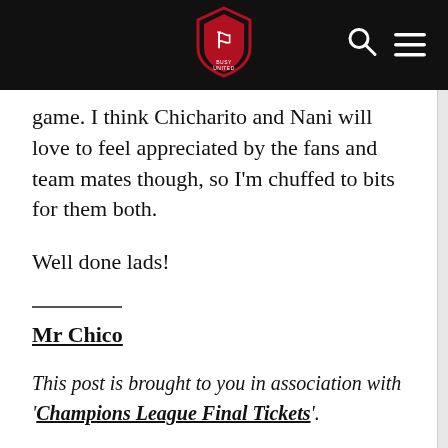[Site logo and navigation bar]
game. I think Chicharito and Nani will love to feel appreciated by the fans and team mates though, so I'm chuffed to bits for them both.
Well done lads!
Mr Chico
This post is brought to you in association with 'Champions League Final Tickets'.